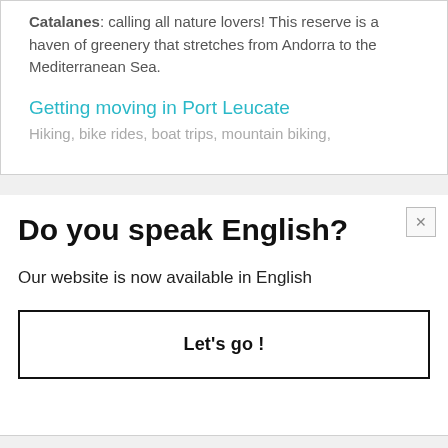Catalanes: calling all nature lovers! This reserve is a haven of greenery that stretches from Andorra to the Mediterranean Sea.
Getting moving in Port Leucate
Hiking, bike rides, boat trips, mountain biking,
Do you speak English?
Our website is now available in English
Let's go !